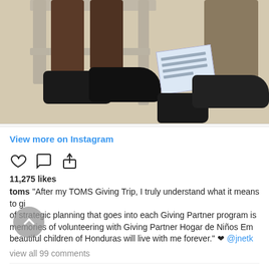[Figure (photo): Cropped Instagram photo showing sandy ground, a grey plastic chair, two people's legs and black shoes, with a clipboard/paper visible on the right side.]
View more on Instagram
[Figure (infographic): Instagram action icons: heart (like), speech bubble (comment), share (upload arrow)]
11,275 likes
toms  "After my TOMS Giving Trip, I truly understand what it means to gi... of strategic planning that goes into each Giving Partner program is... memories of volunteering with Giving Partner Hogar de Niños Em... beautiful children of Honduras will live with me forever." ❤ @jnetk
view all 99 comments